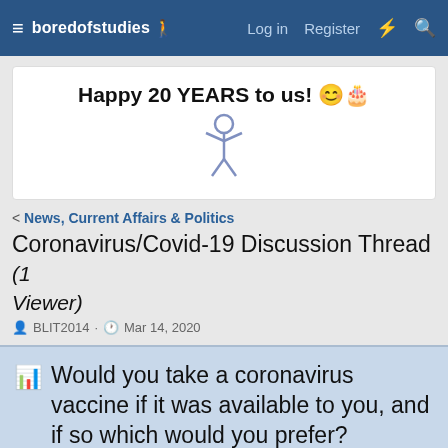boredofstudies  Log in  Register
[Figure (illustration): Happy 20 YEARS to us! celebration banner with emoji and stick figure mascot]
< News, Current Affairs & Politics
Coronavirus/Covid-19 Discussion Thread (1 Viewer)
BLIT2014 · Mar 14, 2020
Would you take a coronavirus vaccine if it was available to you, and if so which would you prefer?
No